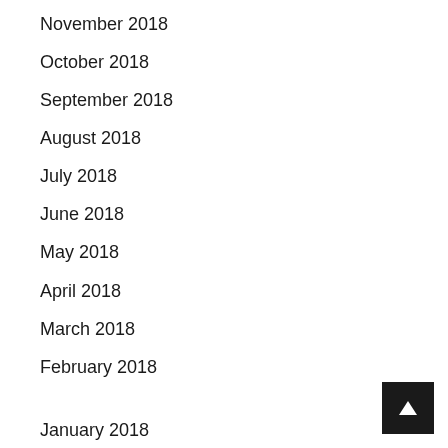November 2018
October 2018
September 2018
August 2018
July 2018
June 2018
May 2018
April 2018
March 2018
February 2018
January 2018